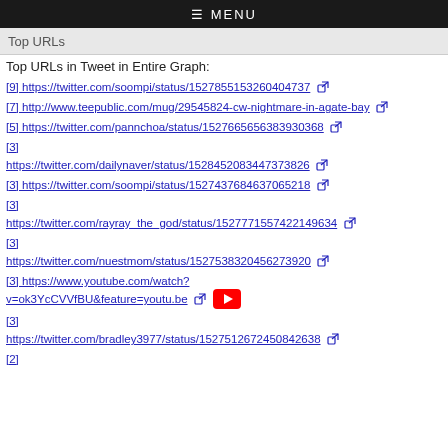≡ MENU
Top URLs
Top URLs in Tweet in Entire Graph:
[9] https://twitter.com/soompi/status/1527855153260404737
[7] http://www.teepublic.com/mug/29545824-cw-nightmare-in-agate-bay
[5] https://twitter.com/pannchoa/status/1527665656383930368
[3] https://twitter.com/dailynaver/status/1528452083447373826
[3] https://twitter.com/soompi/status/1527437684637065218
[3] https://twitter.com/rayray_the_god/status/152777155742214963​4
[3] https://twitter.com/nuestmom/status/1527538320456273920
[3] https://www.youtube.com/watch?v=ok3YcCVVfBU&feature=youtu.be
[3] https://twitter.com/bradley3977/status/1527512672450842638
[2]